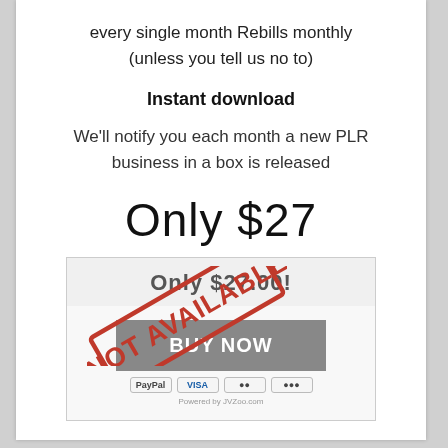every single month Rebills monthly (unless you tell us no to)
Instant download
We'll notify you each month a new PLR business in a box is released
Only $27
[Figure (screenshot): Payment widget showing 'Only $27.00!' price header, a grey 'BUY NOW' button, PayPal/Visa/Mastercard/card icons, and a red diagonal 'NOT AVAILABLE' stamp overlaid on top.]